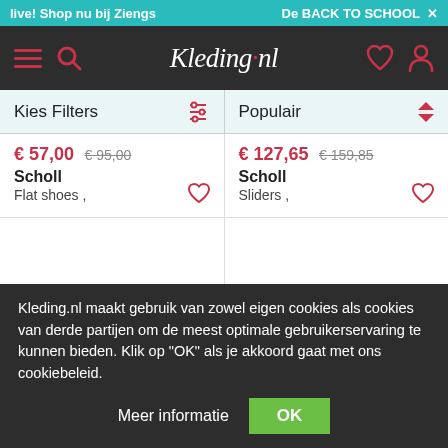live! Shop nu bij Ziengs | De BACK TO SCHOOL ×
[Figure (screenshot): Kleding.nl website navigation bar with hamburger menu, search icon, Kleding.nl logo, heart and profile icons on dark background]
Kies Filters | Populair
€ 57,00 € 95,00
Scholl
Flat shoes ,
€ 127,65 € 159,85
Scholl
Sliders ,
Kleding.nl maakt gebruik van zowel eigen cookies als cookies van derde partijen om de meest optimale gebruikerservaring te kunnen bieden. Klik op "OK" als je akkoord gaat met ons cookiebeleid.
Meer informatie
OK